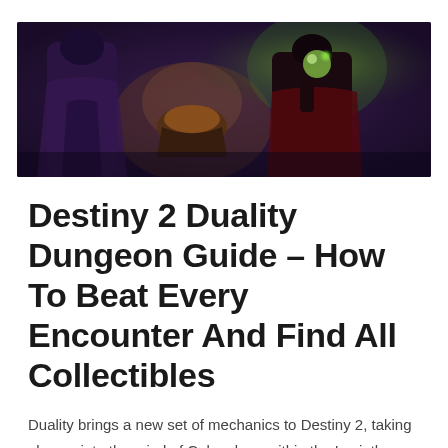[Figure (illustration): Fantasy game art showing a dark robed figure on the left and a figure holding a glowing green orb on the right, set in a dimly lit mystical environment]
Destiny 2 Duality Dungeon Guide – How To Beat Every Encounter And Find All Collectibles
Duality brings a new set of mechanics to Destiny 2, taking players into the mind of Calus deep within the Leviathan. The exiled emperor has a whole lot of psychological baggage, and in order to understand what he's trying to accomplish in Season of the Haunted, you and your fireteam are going to need to …
Read More »